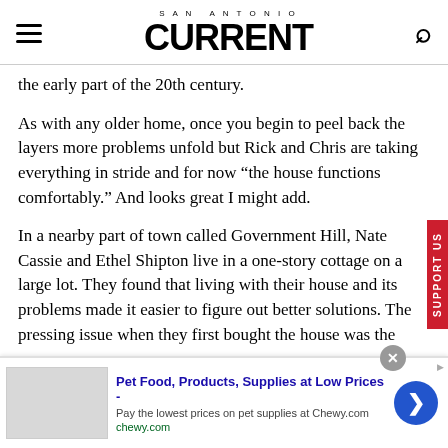SAN ANTONIO CURRENT
the early part of the 20th century.
As with any older home, once you begin to peel back the layers more problems unfold but Rick and Chris are taking everything in stride and for now “the house functions comfortably.” And looks great I might add.
In a nearby part of town called Government Hill, Nate Cassie and Ethel Shipton live in a one-story cottage on a large lot. They found that living with their house and its problems made it easier to figure out better solutions. The pressing issue when they first bought the house was the
[Figure (screenshot): Advertisement banner for Chewy.com: Pet Food, Products, Supplies at Low Prices]